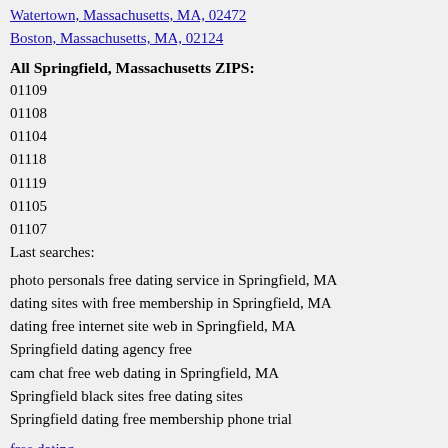Watertown, Massachusetts, MA, 02472
Boston, Massachusetts, MA, 02124
All Springfield, Massachusetts ZIPS:
01109
01108
01104
01118
01119
01105
01107
Last searches:
photo personals free dating service in Springfield, MA
dating sites with free membership in Springfield, MA
dating free internet site web in Springfield, MA
Springfield dating agency free
cam chat free web dating in Springfield, MA
Springfield black sites free dating sites
Springfield dating free membership phone trial
free dating
Copyright © 2013. All Rights Reserved.